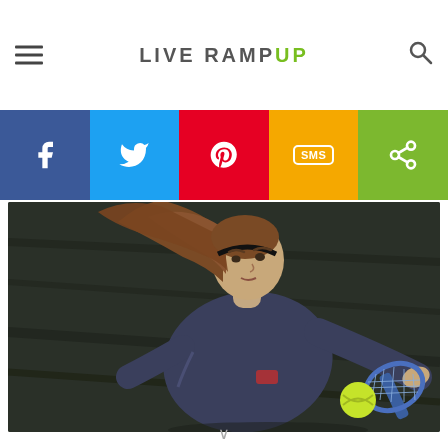LIVE RAMP UP
and Jill are ... siblings, so is Patrick Hartley ... and Jenna ...
[Figure (infographic): Social share bar with Facebook, Twitter, Pinterest, SMS, and Share buttons]
[Figure (photo): Young girl playing tennis, reaching forward with racket to hit a tennis ball, wearing a dark blue long-sleeve shirt with hair flowing behind her, on a dark background court]